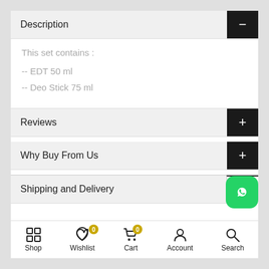Description
This set contains :
-- EDT 50 ml
-- Deo Stick 75 ml
Reviews
Why Buy From Us
Shipping and Delivery
Shop   Wishlist   Cart   Account   Search